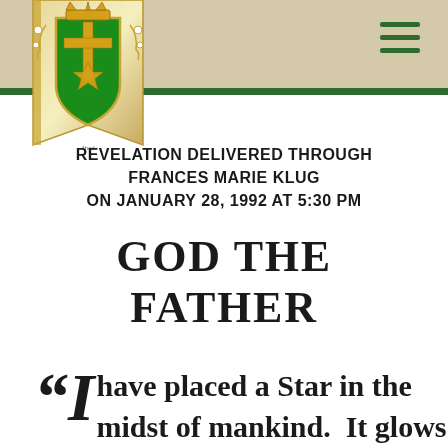[Figure (logo): Green heraldic shield with gold cross and Star of David, surrounded by floral decoration, with a gold crown on top and a ribbon/banner below, all on a tan/khaki ribbon-shaped background]
REVELATION DELIVERED THROUGH FRANCES MARIE KLUG ON JANUARY 28, 1992 AT 5:30 PM
GOD THE FATHER
“I have placed a Star in the midst of mankind.  It glows in so many